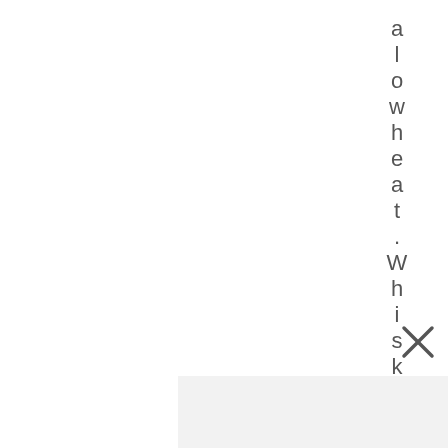allowheat. Whisks
[Figure (other): Close/X button icon]
[Figure (other): Light grey rectangular bar at bottom of page]